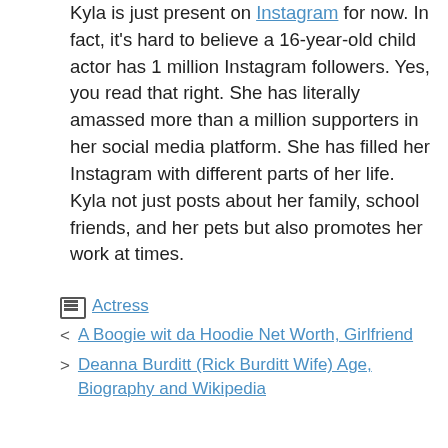Kyla is just present on Instagram for now. In fact, it's hard to believe a 16-year-old child actor has 1 million Instagram followers. Yes, you read that right. She has literally amassed more than a million supporters in her social media platform. She has filled her Instagram with different parts of her life. Kyla not just posts about her family, school friends, and her pets but also promotes her work at times.
Actress
A Boogie wit da Hoodie Net Worth, Girlfriend
Deanna Burditt (Rick Burditt Wife) Age, Biography and Wikipedia